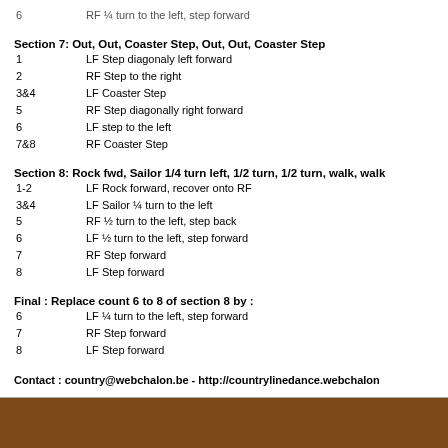6   RF ¼ turn to the left, step forward
Section 7: Out, Out, Coaster Step, Out, Out, Coaster Step
1   LF Step diagonaly left forward
2   RF Step to the right
3&4   LF Coaster Step
5   RF Step diagonally right forward
6   LF step to the left
7&8   RF Coaster Step
Section 8: Rock fwd, Sailor 1/4 turn left, 1/2 turn, 1/2 turn, walk, walk
1-2   LF Rock forward, recover onto RF
3&4   LF Sailor ¼ turn to the left
5   RF ½ turn to the left, step back
6   LF ½ turn to the left, step forward
7   RF Step forward
8   LF Step forward
Final : Replace count 6 to 8 of section 8 by :
6   LF ¼ turn to the left, step forward
7   RF Step forward
8   LF Step forward
Contact : country@webchalon.be - http://countrylinedance.webchalon...
Last Update - 15th Oct. 2017